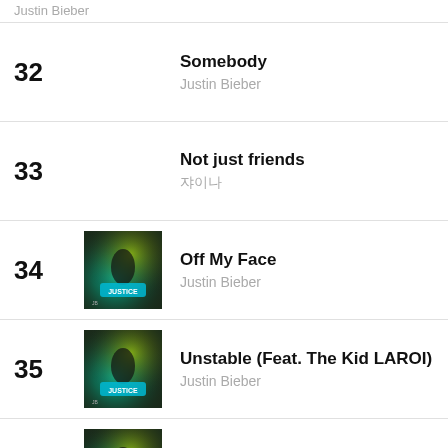Justin Bieber (partial, top of page)
32 – Somebody – Justin Bieber
33 – Not just friends – 쟈이나
34 – Off My Face – Justin Bieber
35 – Unstable (Feat. The Kid LAROI) – Justin Bieber
36 – 2 Much – Justin Bieber